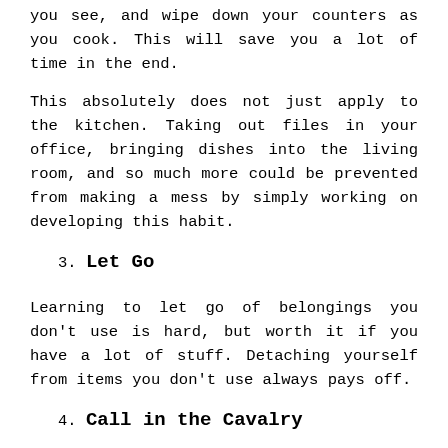you see, and wipe down your counters as you cook. This will save you a lot of time in the end.
This absolutely does not just apply to the kitchen. Taking out files in your office, bringing dishes into the living room, and so much more could be prevented from making a mess by simply working on developing this habit.
3. Let Go
Learning to let go of belongings you don't use is hard, but worth it if you have a lot of stuff. Detaching yourself from items you don't use always pays off.
4. Call in the Cavalry
I know, some people need a lot. If you're a tradesperson, you undoubtedly have a lot of equipment that you can't get